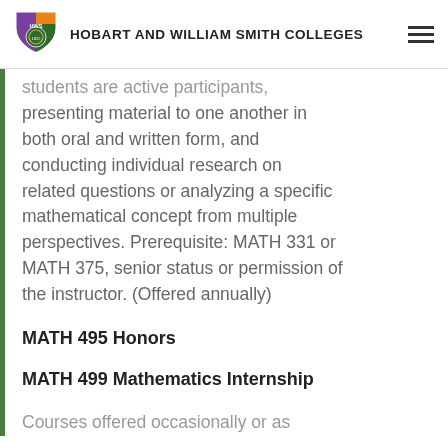HOBART AND WILLIAM SMITH COLLEGES
students are active participants, presenting material to one another in both oral and written form, and conducting individual research on related questions or analyzing a specific mathematical concept from multiple perspectives. Prerequisite: MATH 331 or MATH 375, senior status or permission of the instructor. (Offered annually)
MATH 495 Honors
MATH 499 Mathematics Internship
Courses offered occasionally or as